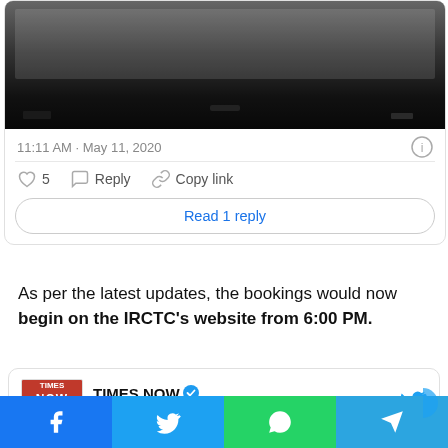[Figure (screenshot): Screenshot of a tweet showing a laptop/device image at top, with tweet timestamp 11:11 AM · May 11, 2020, like (5), reply, copy link actions, and a Read 1 reply button]
As per the latest updates, the bookings would now begin on the IRCTC's website from 6:00 PM.
[Figure (screenshot): Times Now verified Twitter account card showing logo, @TimesNow handle with Follow link and Twitter bird icon]
[Figure (infographic): Share bar at bottom with Facebook, Twitter, WhatsApp, and Telegram share buttons]